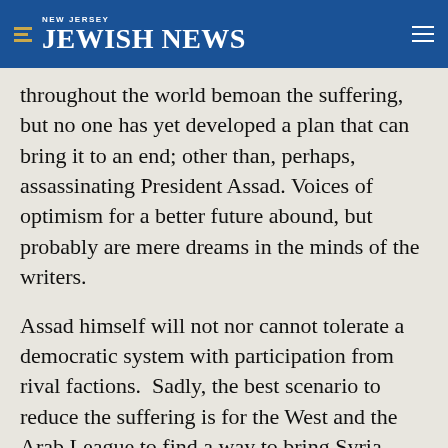NEW JERSEY JEWISH NEWS
throughout the world bemoan the suffering, but no one has yet developed a plan that can bring it to an end; other than, perhaps, assassinating President Assad. Voices of optimism for a better future abound, but probably are mere dreams in the minds of the writers.
Assad himself will not nor cannot tolerate a democratic system with participation from rival factions.  Sadly, the best scenario to reduce the suffering is for the West and the Arab League to find a way to bring Syria back to the status quo ante. There remain no signs that in any of the countries affected by the Arab Spring is there a realistic movement succeeding to create a secular, liberal